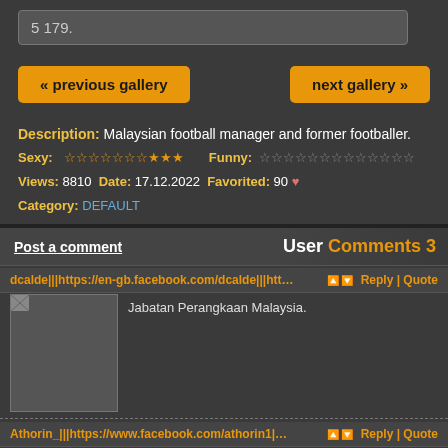5 179.
« previous gallery
next gallery »
Description: Malaysian football manager and former footballer.
Sexy: ☆☆☆☆☆☆☆★★★   Funny: ☆☆☆☆☆☆☆☆☆☆☆☆☆
Views: 8810  Date: 17.12.2022  Favorited: 90 ♥
Category: DEFAULT
Post a comment   User Comments 3
dcalde|||https://en-gb.facebook.com/dcalde|||https://twitter.com/DCALDE8|||https
Reply | Quote
Jabatan Perangkaan Malaysia.
Athorin_|||https://www.facebook.com/athorin1|||https://twitter.com/Thooorin|||ht
Reply | Quote